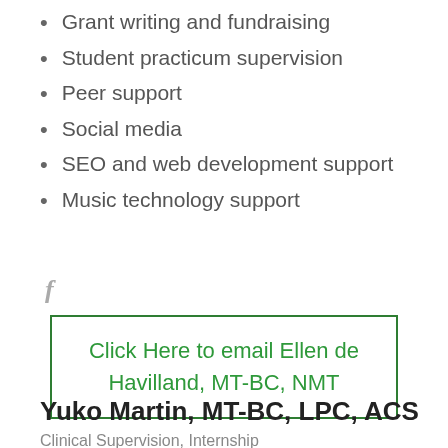Grant writing and fundraising
Student practicum supervision
Peer support
Social media
SEO and web development support
Music technology support
[Figure (logo): Facebook icon (lowercase f, grey)]
Click Here to email Ellen de Havilland, MT-BC, NMT
Yuko Martin, MT-BC, LPC, ACS
Clinical Supervision, Internship